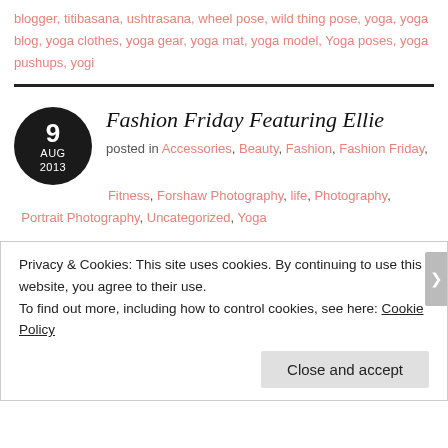blogger, titibasana, ushtrasana, wheel pose, wild thing pose, yoga, yoga blog, yoga clothes, yoga gear, yoga mat, yoga model, Yoga poses, yoga pushups, yogi
Fashion Friday Featuring Ellie
posted in Accessories, Beauty, Fashion, Fashion Friday, Fitness, Forshaw Photography, life, Photography, Portrait Photography, Uncategorized, Yoga
Privacy & Cookies: This site uses cookies. By continuing to use this website, you agree to their use.
To find out more, including how to control cookies, see here: Cookie Policy